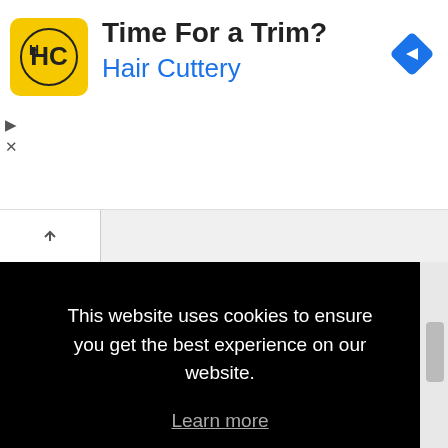[Figure (screenshot): Hair Cuttery advertisement banner with yellow logo, text 'Time For a Trim?' and 'Hair Cuttery' in blue, plus a blue navigation diamond icon on the right]
EMPLOYERS
Post jobs
Search resumes
Email resume alerts
This website uses cookies to ensure you get the best experience on our website. Learn more
Got it!